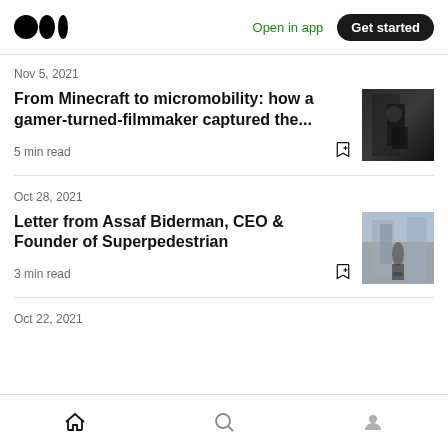Medium logo | Open in app | Get started
Nov 5, 2021
From Minecraft to micromobility: how a gamer-turned-filmmaker captured the...
5 min read
[Figure (photo): Dark image of a person with camera equipment in a doorway]
Oct 28, 2021
Letter from Assaf Biderman, CEO & Founder of Superpedestrian
3 min read
[Figure (photo): Street scene with a person on a scooter in an urban environment]
Oct 22, 2021
Home | Search | Profile